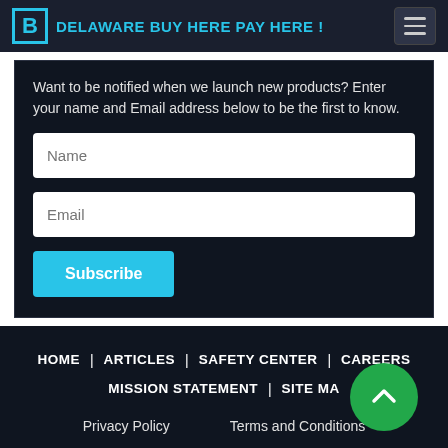DELAWARE BUY HERE PAY HERE !
Want to be notified when we launch new products? Enter your name and Email address below to be the first to know.
HOME | ARTICLES | SAFETY CENTER | CAREERS | MISSION STATEMENT | SITE MAP | Privacy Policy | Terms and Conditions | contact us